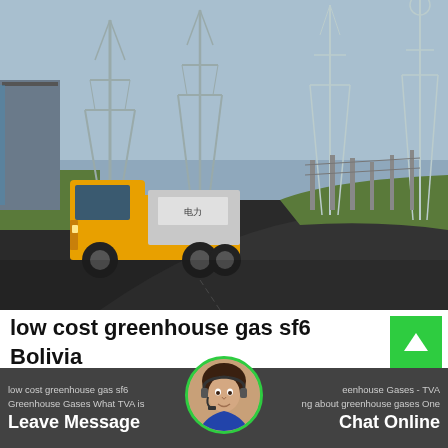[Figure (photo): Photo of a yellow utility truck driving through an electrical substation with tall transmission towers and switchgear equipment in the background. Sky is overcast.]
low cost greenhouse gas sf6 Bolivia
[Figure (photo): Chat support avatar showing a woman with headset]
low cost greenhouse gas sf6 Greenhouse Gases - TVA Greenhouse Gases What TVA is doing about greenhouse gases One
Leave Message
Chat Online